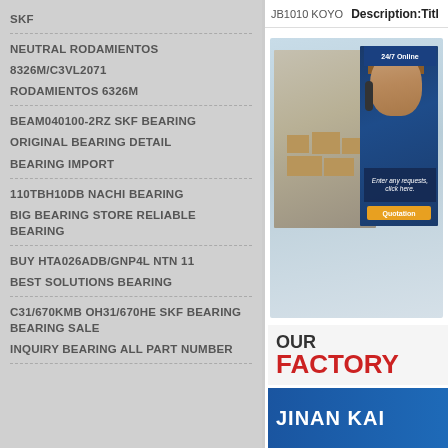SKF
NEUTRAL RODAMIENTOS
8326M/C3VL2071
RODAMIENTOS 6326M
BEAM040100-2RZ SKF BEARING
ORIGINAL BEARING DETAIL
BEARING IMPORT
110TBH10DB NACHI BEARING
BIG BEARING STORE RELIABLE BEARING
BUY HTA026ADB/GNP4L NTN 11
BEST SOLUTIONS BEARING
C31/670KMB OH31/670HE SKF BEARING BEARING SALE
INQUIRY BEARING ALL PART NUMBER
JB1010 KOYO   Description:Title
[Figure (photo): Warehouse interior with boxes and customer service agent with headset, 24/7 Online badge, request/quotation overlay]
OUR
FACTORY
JINAN KAI